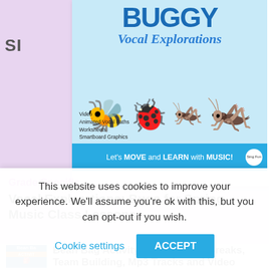[Figure (illustration): Book cover for 'Buggy Vocal Explorations' showing cartoon bugs (bee, ladybug, dragonfly, grasshopper) with text 'Let's MOVE and LEARN with MUSIC!' on a blue footer bar. Features listed: Video, Animated Vocal Paths, Worksheets, Smartboard Graphics.]
Grade Specific
Vocal Explorations: Bugs for Spring Music Class Lessons
[Figure (illustration): Thumbnail for 'Bean Bag Activity Songs, Brain Breaks, Team Building, Mp3 Tracks and Video' product with blue box thumbnail showing cartoon characters.]
Bean Bag Activity Songs, Brain Breaks, Team Building, Mp3 Tracks and Video
This website uses cookies to improve your experience. We'll assume you're ok with this, but you can opt-out if you wish.
Cookie settings
ACCEPT